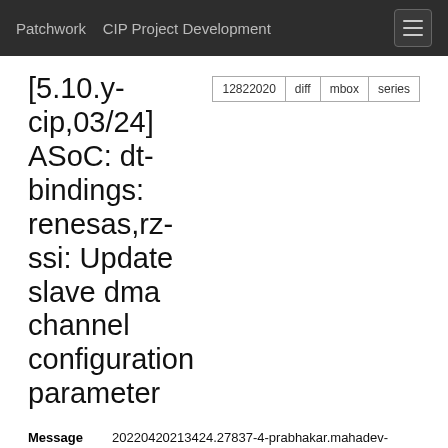Patchwork   CIP Project Development
[5.10.y-cip,03/24] ASoC: dt-bindings: renesas,rz-ssi: Update slave dma channel configuration parameter
| Field | Value |
| --- | --- |
| Message ID | 20220420213424.27837-4-prabhakar.mahadev-lad.rj@bp.renesas.com (mailing list archive) |
| State | New |
| Headers | show |
| Series | Add sound support to Renesas RZ/G2L SoC | |